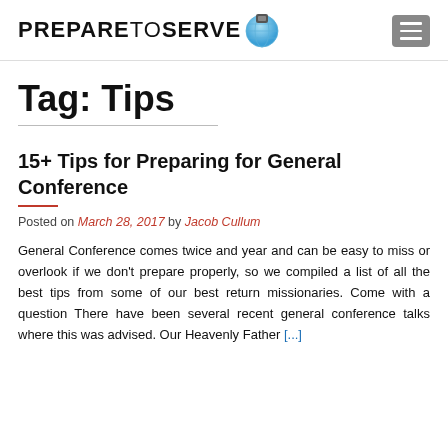PREPARETOSERVE [logo with globe]
Tag: Tips
15+ Tips for Preparing for General Conference
Posted on March 28, 2017 by Jacob Cullum
General Conference comes twice and year and can be easy to miss or overlook if we don't prepare properly, so we compiled a list of all the best tips from some of our best return missionaries. Come with a question There have been several recent general conference talks where this was advised. Our Heavenly Father [...]